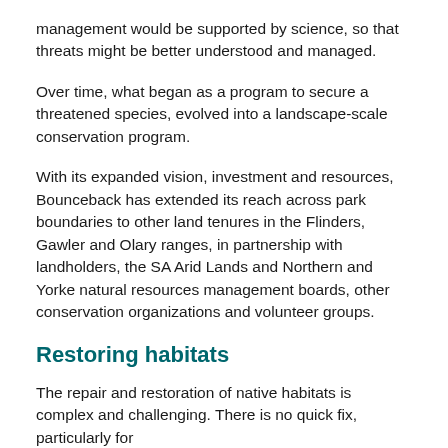management would be supported by science, so that threats might be better understood and managed.
Over time, what began as a program to secure a threatened species, evolved into a landscape-scale conservation program.
With its expanded vision, investment and resources, Bounceback has extended its reach across park boundaries to other land tenures in the Flinders, Gawler and Olary ranges, in partnership with landholders, the SA Arid Lands and Northern and Yorke natural resources management boards, other conservation organizations and volunteer groups.
Restoring habitats
The repair and restoration of native habitats is complex and challenging. There is no quick fix, particularly for